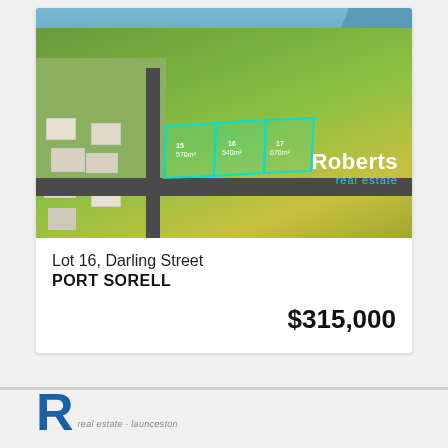[Figure (photo): Aerial photograph of Lot 16 Darling Street, Port Sorell, showing green land parcels with cyan lot boundary outlines, adjacent suburb, roads, and waterway. Roberts Real Estate branding in bottom-right corner.]
Lot 16, Darling Street
PORT SORELL
$315,000